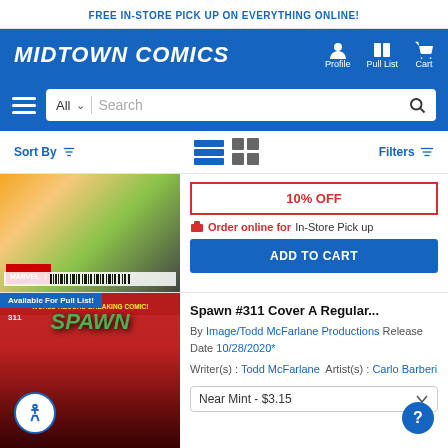FREE IN-STORE PICK UP ON EVERYTHING ONLINE!
MIDTOWN COMICS
Profile  Pull List  Cart
All  Search
Sort By  Filters
[Figure (screenshot): Partial comic book cover showing Marvel comic with colorful illustration]
10% OFF
Order online for In-Store Pick up
ADD TO CART
Available For Pull List!
[Figure (photo): Spawn #311 comic book cover showing Spawn character in red background with green title text]
Spawn #311 Cover A Regular... By Image/Todd McFarlane Productions Release Date 10/28/2020* Writer(s) : Todd McFarlane Artist(s) : Carlo Barberi
Near Mint - $3.15